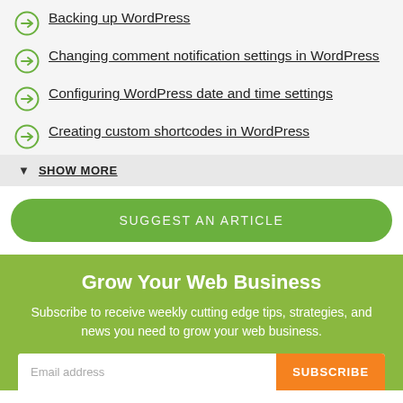Backing up WordPress
Changing comment notification settings in WordPress
Configuring WordPress date and time settings
Creating custom shortcodes in WordPress
SHOW MORE
SUGGEST AN ARTICLE
Grow Your Web Business
Subscribe to receive weekly cutting edge tips, strategies, and news you need to grow your web business.
Email address
SUBSCRIBE